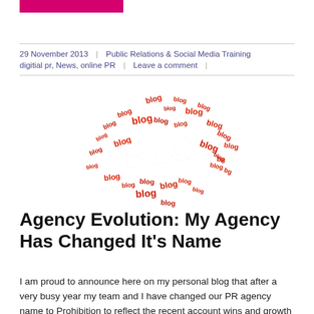29 November 2013 | Public Relations & Social Media Training digitial pr, News, online PR | Leave a comment |
[Figure (illustration): 3D word cloud illustration made up of the word 'blog' in various sizes and rotations in red, with a large white 'BLOG' text in the center, on a white background]
Agency Evolution: My Agency Has Changed It's Name
I am proud to announce here on my personal blog that after a very busy year my team and I have changed our PR agency name to Prohibition to reflect the recent account wins and growth in team